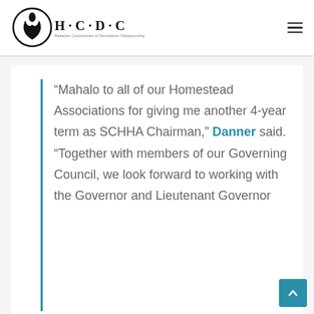[Figure (logo): HCDC logo with flame symbol and text H·C·D·C with subtitle Hawaiian Communities of Destination Championship]
“Mahalo to all of our Homestead Associations for giving me another 4-year term as SCHHA Chairman,” Danner said. “Together with members of our Governing Council, we look forward to working with the Governor and Lieutenant Governor